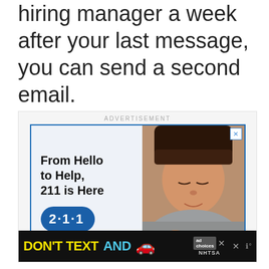hiring manager a week after your last message, you can send a second email.
[Figure (other): Advertisement box with two sub-ads: (1) A 211 service ad with text 'From Hello to Help, 211 is Here' and a blue chat bubble logo reading '2·1·1 Get Connected. Get Help.' alongside a photo of a child resting their head; (2) A bottom banner ad reading 'DON'T TEXT AND [car emoji]' with an NHTSA logo.]